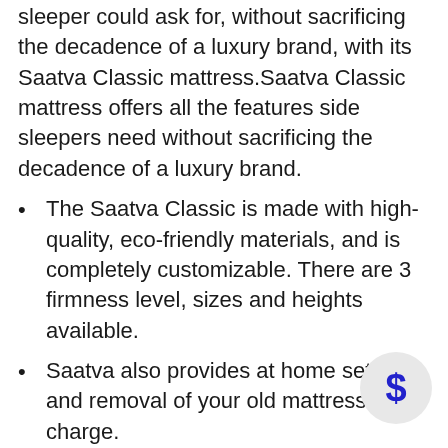sleeper could ask for, without sacrificing the decadence of a luxury brand, with its Saatva Classic mattress.Saatva Classic mattress offers all the features side sleepers need without sacrificing the decadence of a luxury brand.
The Saatva Classic is made with high-quality, eco-friendly materials, and is completely customizable. There are 3 firmness level, sizes and heights available.
Saatva also provides at home setup, and removal of your old mattress at no charge.
Comes with a 180 night sleep tr… free shipping.
[Figure (illustration): A light gray circular badge with a dark blue dollar sign ($) in the center, positioned in the bottom-right corner of the page.]